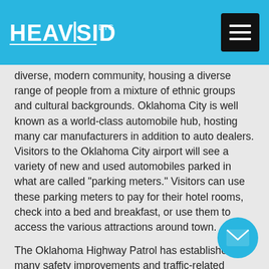HEAVISIDE DIGITAL
diverse, modern community, housing a diverse range of people from a mixture of ethnic groups and cultural backgrounds. Oklahoma City is well known as a world-class automobile hub, hosting many car manufacturers in addition to auto dealers. Visitors to the Oklahoma City airport will see a variety of new and used automobiles parked in what are called "parking meters." Visitors can use these parking meters to pay for their hotel rooms, check into a bed and breakfast, or use them to access the various attractions around town.
The Oklahoma Highway Patrol has established many safety improvements and traffic-related improvements throughout the Oklahoma City region. The Oklahoma Department of Transportation is responsible for many of those improvements. The Oklahoma Highway Patrol also partners with local businesses, organizations, and government agencies in to improve the safety and security of public transportation, highway safety, enhance road and bridge construction and maintenance, and to establish better transportation additions the